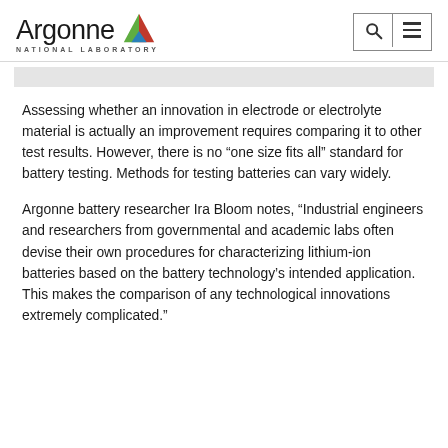[Figure (logo): Argonne National Laboratory logo with triangle icon in red, green, and blue, and text 'Argonne NATIONAL LABORATORY']
Assessing whether an innovation in electrode or electrolyte material is actually an improvement requires comparing it to other test results. However, there is no “one size fits all” standard for battery testing. Methods for testing batteries can vary widely.
Argonne battery researcher Ira Bloom notes, “Industrial engineers and researchers from governmental and academic labs often devise their own procedures for characterizing lithium-ion batteries based on the battery technology’s intended application. This makes the comparison of any technological innovations extremely complicated.”